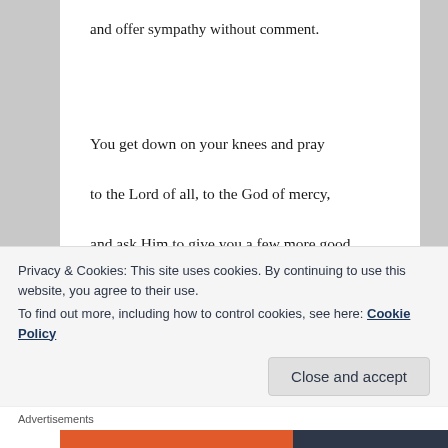and offer sympathy without comment.
You get down on your knees and pray
to the Lord of all, to the God of mercy,
and ask Him to give you a few more good
years of loving the printed page.
Privacy & Cookies: This site uses cookies. By continuing to use this website, you agree to their use.
To find out more, including how to control cookies, see here: Cookie Policy
Advertisements